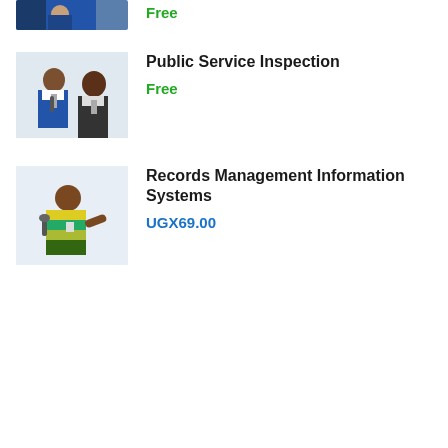[Figure (photo): Partial view of a man in a blue suit wearing a face mask, cropped at the top of the page]
Free
[Figure (photo): Two people at a conference or seminar, one woman and one man, wearing lanyards/badges]
Public Service Inspection
Free
[Figure (photo): A woman speaking at a podium or event, wearing a colorful top, gesturing with her hand]
Records Management Information Systems
UGX69.00